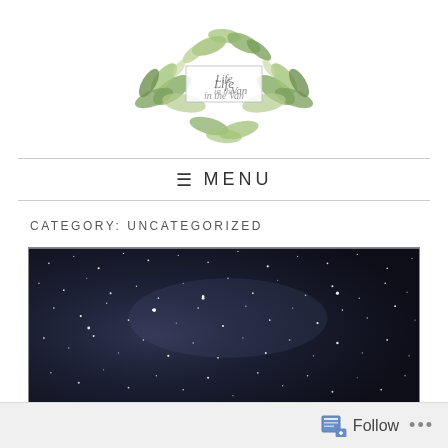[Figure (logo): Life in the Van blog logo with watercolor greenery/leaves surrounding a rectangular frame with cursive text 'Life in the Van']
≡ MENU
CATEGORY: UNCATEGORIZED
[Figure (photo): Night sky photograph showing a dark navy/black sky filled with stars and subtle Milky Way glow]
Follow ...